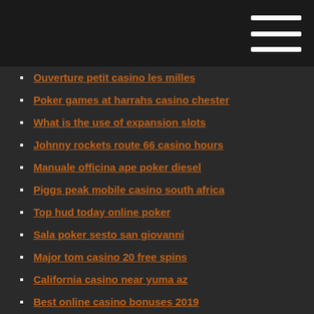Ouverture petit casino les milles
Poker games at harrahs casino chester
What is the use of expansion slots
Johnny rockets route 66 casino hours
Manuale officina ape poker diesel
Piggs peak mobile casino south africa
Top hud today online poker
Sala poker sesto san giovanni
Major tom casino 20 free spins
California casino near yuma az
Best online casino bonuses 2019
Zynga texas holdem poker wikipedia
All slot casino mobile
Planet casino no deposit codes